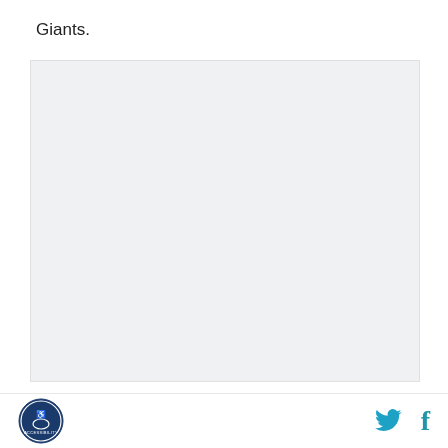Giants.
[Figure (other): Large light gray placeholder image block]
And that might be my biggest gripe with the idea of
Accessibility logo icon, Twitter icon, Facebook icon